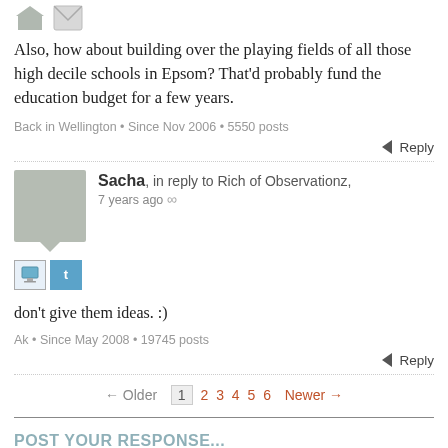[Figure (illustration): User avatar icons at top - arrow/envelope icons]
Also, how about building over the playing fields of all those high decile schools in Epsom? That'd probably fund the education budget for a few years.
Back in Wellington • Since Nov 2006 • 5550 posts
Reply
[Figure (illustration): Sacha user avatar (grey speech bubble rectangle)]
Sacha, in reply to Rich of Observationz, 7 years ago ∞
don't give them ideas. :)
Ak • Since May 2008 • 19745 posts
Reply
← Older  1  2  3  4  5  6  Newer →
POST YOUR RESPONSE...
Please sign in using your Public Address login details.